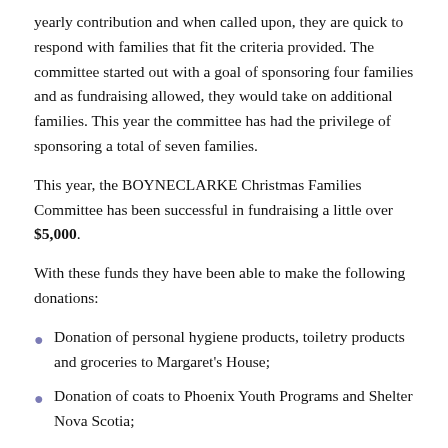yearly contribution and when called upon, they are quick to respond with families that fit the criteria provided. The committee started out with a goal of sponsoring four families and as fundraising allowed, they would take on additional families. This year the committee has had the privilege of sponsoring a total of seven families.
This year, the BOYNECLARKE Christmas Families Committee has been successful in fundraising a little over $5,000.
With these funds they have been able to make the following donations:
Donation of personal hygiene products, toiletry products and groceries to Margaret's House;
Donation of coats to Phoenix Youth Programs and Shelter Nova Scotia;